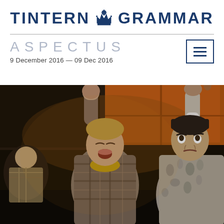[Figure (logo): Tintern Grammar school logo with crest/crown emblem between the words TINTERN and GRAMMAR in bold navy blue uppercase letters]
ASPECTUS
9 December 2016 — 09 Dec 2016
[Figure (photo): Stage performance photo showing students in a musical production. A boy in a plaid shirt with a yellow scarf raises his fist in the air singing, eyes closed. To his right stands a young man in a patterned silver/grey jacket also raising his arm. Additional students in period costumes visible in background. Orange/brown stage set visible behind them.]